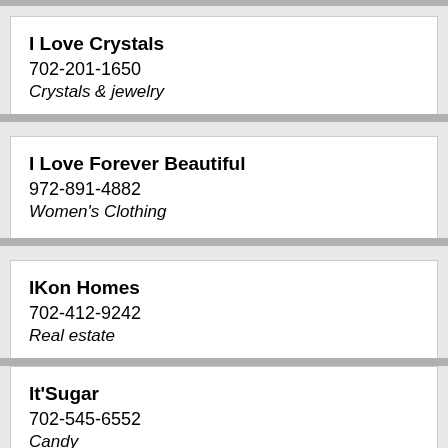I Love Crystals
702-201-1650
Crystals & jewelry
I Love Forever Beautiful
972-891-4882
Women's Clothing
IKon Homes
702-412-9242
Real estate
It'Sugar
702-545-6552
Candy
Other IT'SUGAR locations